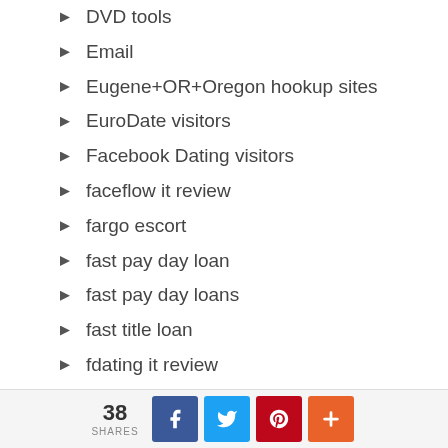DVD tools
Email
Eugene+OR+Oregon hookup sites
EuroDate visitors
Facebook Dating visitors
faceflow it review
fargo escort
fast pay day loan
fast pay day loans
fast title loan
fdating it review
find payday loans near me
first title loans
firstmet fr review
Flirt4free visitors
38 SHARES